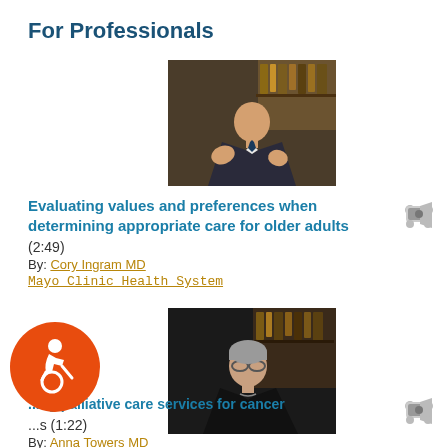For Professionals
[Figure (photo): Video thumbnail showing a man in a suit gesturing with his hands, seated in front of bookshelves]
Evaluating values and preferences when determining appropriate care for older adults
(2:49)
By: Cory Ingram MD
Mayo Clinic Health System
[Figure (photo): Video thumbnail showing a woman with glasses, seated in front of bookshelves]
...ng palliative care services for cancer
...s (1:22)
By: Anna Towers MD
McGill University...